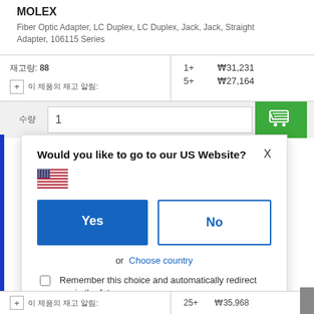MOLEX
Fiber Optic Adapter, LC Duplex, LC Duplex, Jack, Jack, Straight Adapter, 106115 Series
| 재고 | 수량 | 가격 |
| --- | --- | --- |
| 재고량: 88 | 1+ | ₩31,231 |
|  | 5+ | ₩27,164 |
[Figure (screenshot): Quantity input field with value 1, and green shopping cart button]
[Figure (screenshot): Modal dialog asking Would you like to go to our US Website? with Yes and No buttons, US flag, and remember choice checkbox]
Would you like to go to our US Website?
Yes
No
or  Choose country
Remember this choice and automatically redirect me in the future
25+  ₩35,968